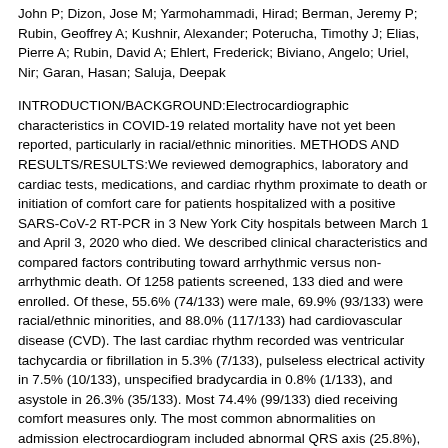John P; Dizon, Jose M; Yarmohammadi, Hirad; Berman, Jeremy P; Rubin, Geoffrey A; Kushnir, Alexander; Poterucha, Timothy J; Elias, Pierre A; Rubin, David A; Ehlert, Frederick; Biviano, Angelo; Uriel, Nir; Garan, Hasan; Saluja, Deepak
INTRODUCTION/BACKGROUND:Electrocardiographic characteristics in COVID-19 related mortality have not yet been reported, particularly in racial/ethnic minorities. METHODS AND RESULTS/RESULTS:We reviewed demographics, laboratory and cardiac tests, medications, and cardiac rhythm proximate to death or initiation of comfort care for patients hospitalized with a positive SARS-CoV-2 RT-PCR in 3 New York City hospitals between March 1 and April 3, 2020 who died. We described clinical characteristics and compared factors contributing toward arrhythmic versus non-arrhythmic death. Of 1258 patients screened, 133 died and were enrolled. Of these, 55.6% (74/133) were male, 69.9% (93/133) were racial/ethnic minorities, and 88.0% (117/133) had cardiovascular disease (CVD). The last cardiac rhythm recorded was ventricular tachycardia or fibrillation in 5.3% (7/133), pulseless electrical activity in 7.5% (10/133), unspecified bradycardia in 0.8% (1/133), and asystole in 26.3% (35/133). Most 74.4% (99/133) died receiving comfort measures only. The most common abnormalities on admission electrocardiogram included abnormal QRS axis (25.8%), atrial